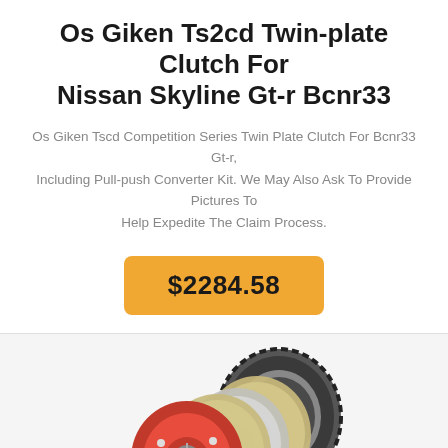Os Giken Ts2cd Twin-plate Clutch For Nissan Skyline Gt-r Bcnr33
Os Giken Tscd Competition Series Twin Plate Clutch For Bcnr33 Gt-r, Including Pull-push Converter Kit. We May Also Ask To Provide Pictures To Help Expedite The Claim Process.
$2284.58
[Figure (photo): Exploded view of Os Giken twin-plate clutch assembly showing red pressure plate, dual friction discs, and flywheel ring gear components.]